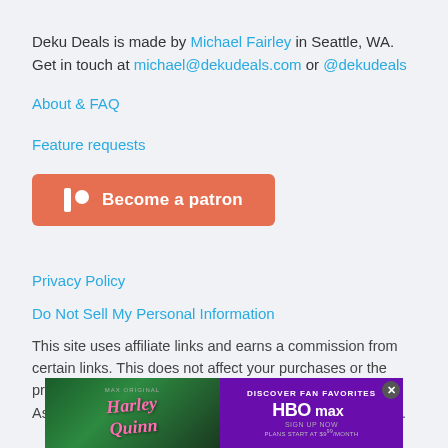Deku Deals is made by Michael Fairley in Seattle, WA. Get in touch at michael@dekudeals.com or @dekudeals
About & FAQ
Feature requests
[Figure (other): Patreon button: Become a patron]
Privacy Policy
Do Not Sell My Personal Information
This site uses affiliate links and earns a commission from certain links. This does not affect your purchases or the price you may pay.
As an Amazon Associate I earn from qualifying purchases.
[Figure (other): Advertisement banner for HBO Max - Harley Quinn show. Text: DISCOVER FAN FAVORITES, HBO MAX, SIGN UP NOW, PLANS START AT $9.99/MONTH]